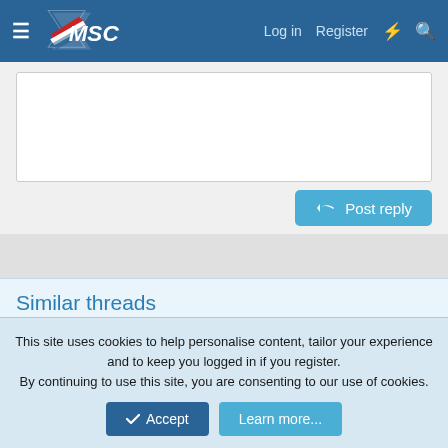MSC — Log in  Register
[Figure (screenshot): Empty reply text box area]
Post reply
Similar threads
Rear suspension arms
enginepunk · K11 Tuning & Mechanical
Replies: 1 · Apr 19, 2009
This site uses cookies to help personalise content, tailor your experience and to keep you logged in if you register.
By continuing to use this site, you are consenting to our use of cookies.